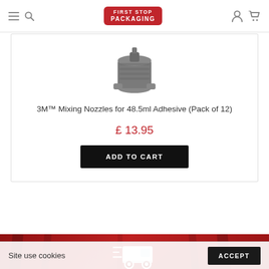First Stop Packaging
[Figure (photo): 3M mixing nozzle product photo - grey cylindrical nozzle]
3M™ Mixing Nozzles for 48.5ml Adhesive (Pack of 12)
£ 13.95
ADD TO CART
[Figure (photo): Red banner with warehouse background, delivery van icon, and FREE text]
Site use cookies
ACCEPT